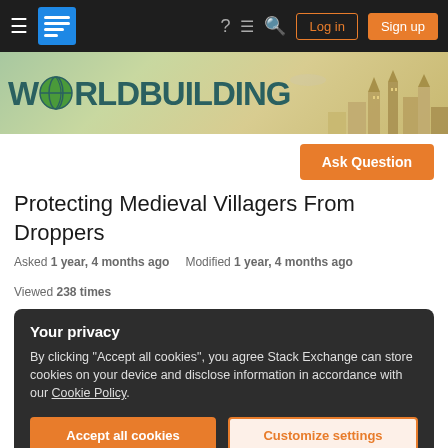Stack Exchange Worldbuilding — navigation bar with hamburger menu, logo, help, feedback, search icons, Log in and Sign up buttons
[Figure (screenshot): Worldbuilding Stack Exchange banner with 'WORLDBUILDING' text in teal and a fantasy cityscape illustration on the right]
[Figure (other): Ask Question orange button]
Protecting Medieval Villagers From Droppers
Asked 1 year, 4 months ago   Modified 1 year, 4 months ago   Viewed 238 times
Your privacy
By clicking "Accept all cookies", you agree Stack Exchange can store cookies on your device and disclose information in accordance with our Cookie Policy.
Accept all cookies   Customize settings
Droppers is an egg (from...and like a tennis ball, which comprises a bird-like...